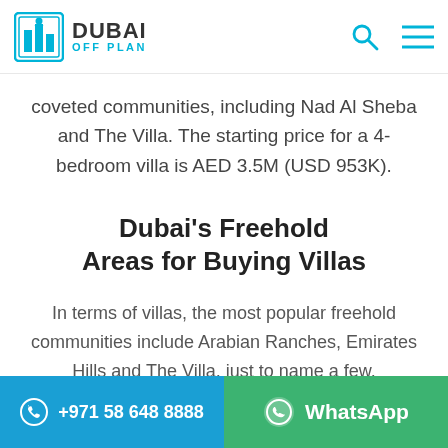DUBAI OFF PLAN
coveted communities, including Nad Al Sheba and The Villa. The starting price for a 4-bedroom villa is AED 3.5M (USD 953K).
Dubai's Freehold Areas for Buying Villas
In terms of villas, the most popular freehold communities include Arabian Ranches, Emirates Hills and The Villa, just to name a few.
Arabian Ranches
+971 58 648 8888 | WhatsApp